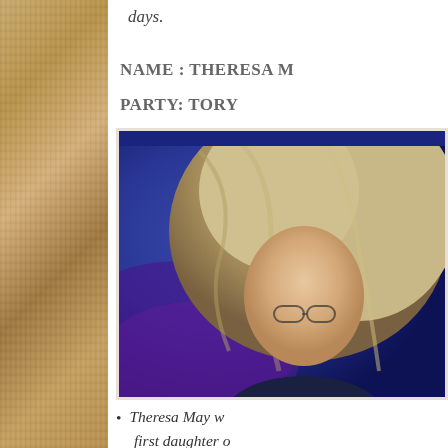days.
NAME : THERESA M
PARTY: TORY
[Figure (photo): Close-up photograph of Theresa May, showing her face and blonde-grey hair against a blue background]
Theresa May w... first daughter o...